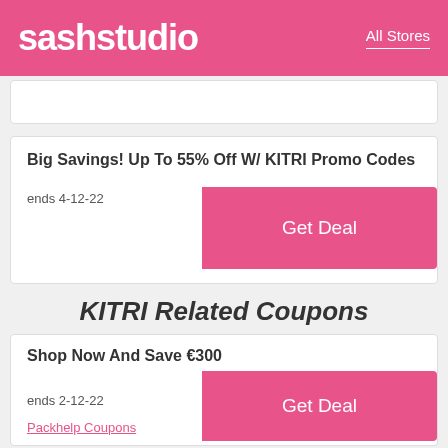sashstudio | All Stores
Big Savings! Up To 55% Off W/ KITRI Promo Codes
ends 4-12-22
Get Deal
KITRI Related Coupons
Shop Now And Save €300
ends 2-12-22
Get Deal
Packhelp Coupons